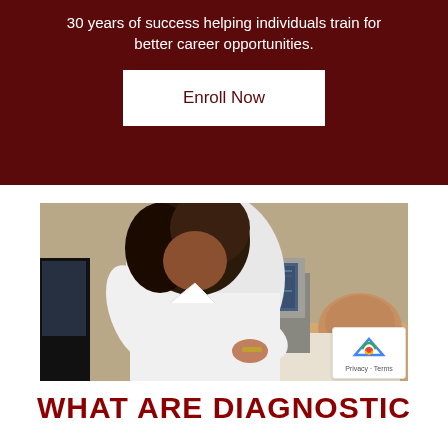30 years of success helping individuals train for better career opportunities.
Enroll Now
[Figure (photo): A medical professional in a white coat performing an ultrasound examination on a patient lying down. An ultrasound monitor is visible in the background showing images.]
WHAT ARE DIAGNOSTIC